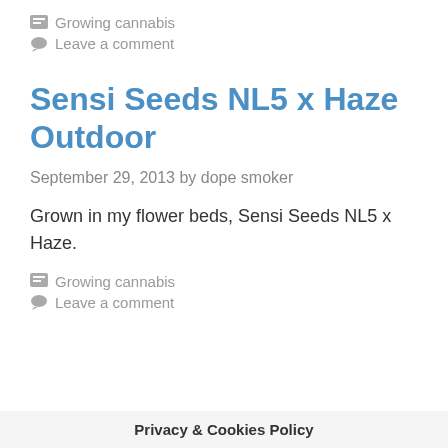Growing cannabis
Leave a comment
Sensi Seeds NL5 x Haze Outdoor
September 29, 2013 by dope smoker
Grown in my flower beds, Sensi Seeds NL5 x Haze.
Growing cannabis
Leave a comment
Privacy & Cookies Policy